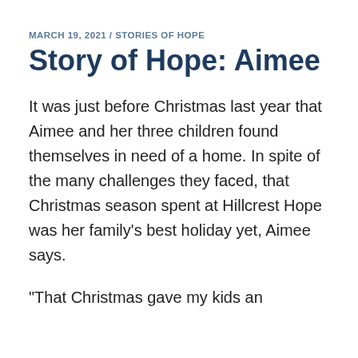MARCH 19, 2021 / STORIES OF HOPE
Story of Hope: Aimee
It was just before Christmas last year that Aimee and her three children found themselves in need of a home. In spite of the many challenges they faced, that Christmas season spent at Hillcrest Hope was her family's best holiday yet, Aimee says.
"That Christmas gave my kids an